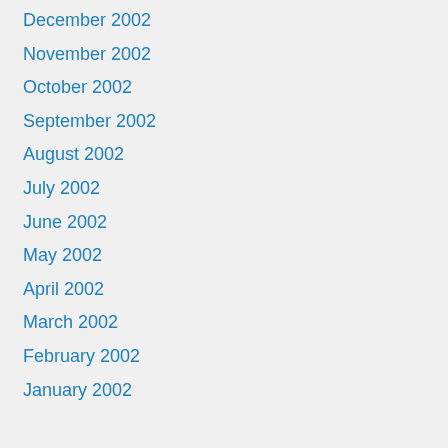December 2002
November 2002
October 2002
September 2002
August 2002
July 2002
June 2002
May 2002
April 2002
March 2002
February 2002
January 2002